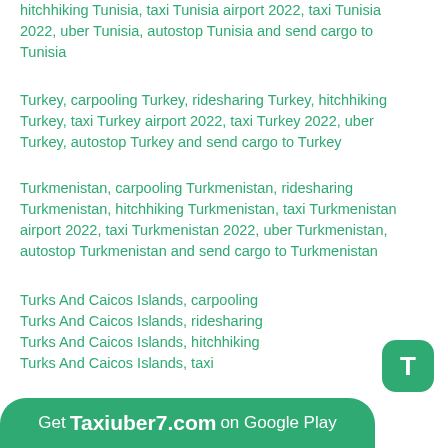hitchhiking Tunisia, taxi Tunisia airport 2022, taxi Tunisia 2022, uber Tunisia, autostop Tunisia and send cargo to Tunisia
Turkey, carpooling Turkey, ridesharing Turkey, hitchhiking Turkey, taxi Turkey airport 2022, taxi Turkey 2022, uber Turkey, autostop Turkey and send cargo to Turkey
Turkmenistan, carpooling Turkmenistan, ridesharing Turkmenistan, hitchhiking Turkmenistan, taxi Turkmenistan airport 2022, taxi Turkmenistan 2022, uber Turkmenistan, autostop Turkmenistan and send cargo to Turkmenistan
Turks And Caicos Islands, carpooling
Turks And Caicos Islands, ridesharing
Turks And Caicos Islands, hitchhiking
Turks And Caicos Islands, taxi
Turks And Caicos Islands airport 2022, taxi
Turks And Caicos Islands 2022, uber
Turks And Caicos Islands, autostop
Turks And Caicos Islands and send cargo to
Turks And Caicos Islands
U
Uganda, carpooling Uganda, ridesharing Uganda,
Get Taxiuber7.com on Google Play